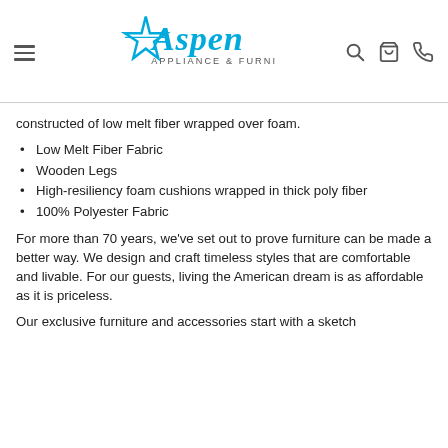Aspen Appliance & Furniture
constructed of low melt fiber wrapped over foam.
Low Melt Fiber Fabric
Wooden Legs
High-resiliency foam cushions wrapped in thick poly fiber
100% Polyester Fabric
For more than 70 years, we've set out to prove furniture can be made a better way. We design and craft timeless styles that are comfortable and livable. For our guests, living the American dream is as affordable as it is priceless.
Our exclusive furniture and accessories start with a sketch